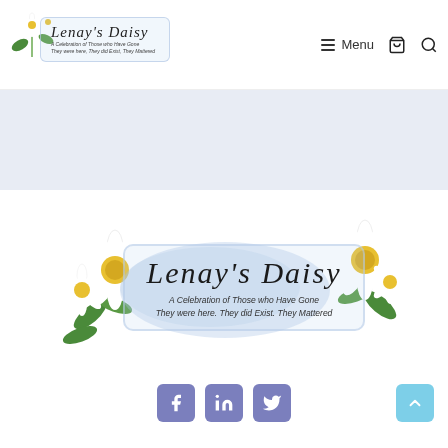[Figure (logo): Lenay's Daisy logo with daisy flower decorations, text reads: Lenay's Daisy, A Celebration of Those who Have Gone, They were here, They did Exist, They Mattered]
☰ Menu
[Figure (illustration): Light blue/lavender banner background area]
[Figure (logo): Large Lenay's Daisy logo with daisy flower decorations, text reads: Lenay's Daisy, A Celebration of Those who Have Gone, They were here. They did Exist. They Mattered]
[Figure (illustration): Social media icons: Facebook, LinkedIn, Twitter (purple square buttons) and a light blue back-to-top arrow button]